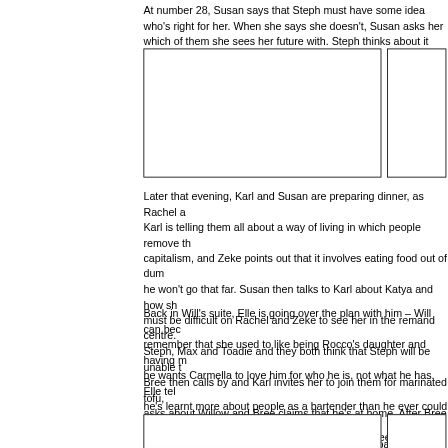At number 28, Susan says that Steph must have some idea who's right for her. When she says she doesn't, Susan asks her which of them she sees her future with. Steph thinks about it and realises that it's him.
[Figure (photo): Large empty image box (photo placeholder)]
[Figure (photo): Smaller empty image box (photo placeholder)]
Later that evening, Karl and Susan are preparing dinner, as Rachel and Zeke listen to Karl. Karl is telling them all about a way of living in which people remove themselves from capitalism, and Zeke points out that it involves eating food out of dumpsters, but Karl says he won't go that far. Susan then talks to Karl about Katya and how she's worried that it must be difficult on Rachel and Zeke to see her in the remand centre. Karl mentions Steph, Max and Toadie and they both think that Steph will be unable to choose. Bree then calls by and Karl invites her to join them for marinated tofu, and Karl asks about Willow and Bree claims that he's at home. After Bree gets seated, she tells them about the articles she got published in Shepparton, including one where she had to quote Libby, saying that the first rule of journalism is just to get published. Bree plans to do some articles about tattoos and their dangers for the school blogzine. Bree then admits that she's made a decision about Stingray – she wants to get back to
Back in Will's suite, Elle is going over the plan with him – Will can become Carmella but remember that she used to like being Rocco's daughter and having money around her, but he wants Carmella to love him for who he is, not what he has. Elle tells him that he's learnt more about people as a bartender than he ever could as a millionaire. Frazer arrives and hands Elle the champagne she ordered. He sees Will and asks what he's doing there. Elle just wanted to see how high he'd jump, before slamming the door on him and telling him he should be taking advice from someone like her.
[Figure (photo): Large empty image box at bottom (photo placeholder)]
[Figure (photo): Smaller empty image box at bottom (photo placeholder)]